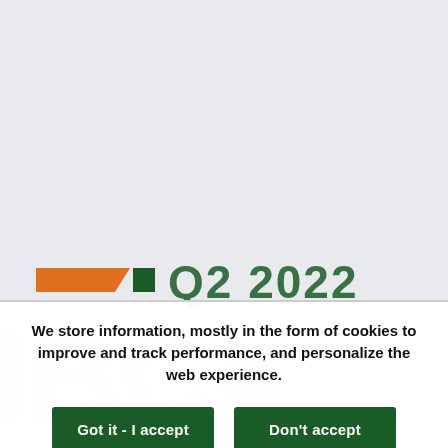[Figure (screenshot): Background webpage screenshot showing a light gray area with an orange chevron shape, a green square, and large dark green 'Q2 2022' text partially visible, with faded watermark graphics below.]
We store information, mostly in the form of cookies to improve and track performance, and personalize the web experience.
Got it - I accept
Don't accept
Learn More